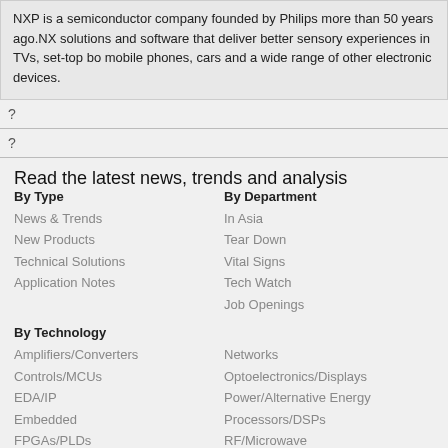NXP is a semiconductor company founded by Philips more than 50 years ago.NX solutions and software that deliver better sensory experiences in TVs, set-top bo mobile phones, cars and a wide range of other electronic devices.
?
?
Read the latest news, trends and analysis
By Type
News & Trends
New Products
Technical Solutions
Application Notes
By Department
In Asia
Tear Down
Vital Signs
Tech Watch
Job Openings
By Technology
Amplifiers/Converters
Controls/MCUs
EDA/IP
Embedded
FPGAs/PLDs
Interface
Networks
Optoelectronics/Displays
Power/Alternative Energy
Processors/DSPs
RF/Microwave
Sensors/MEMS